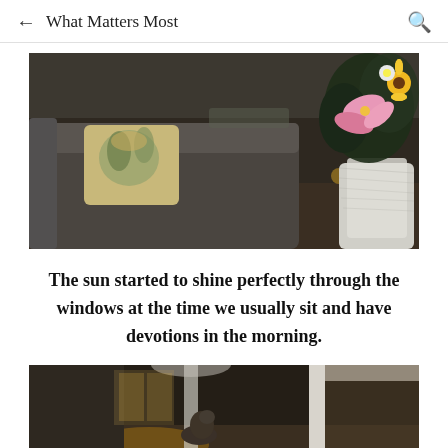← What Matters Most 🔍
[Figure (photo): Indoor scene showing a dark upholstered sofa with a floral decorative pillow on the left, and a bouquet of flowers including a pink lily, yellow sunflowers, and white flowers wrapped in white lace or netting on the right, set in a dimly lit living room.]
The sun started to shine perfectly through the windows at the time we usually sit and have devotions in the morning.
[Figure (photo): Partial indoor scene showing a hallway or entryway with white walls, a door frame, and warm light coming through a window, with a cat or small figure partially visible.]